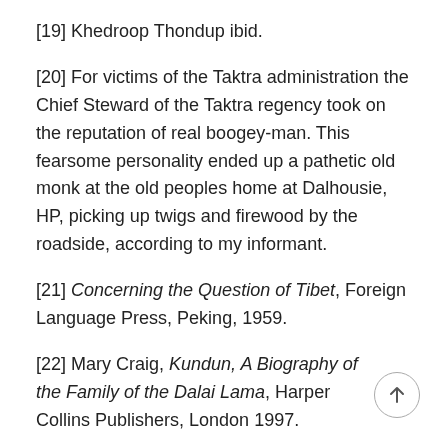[19] Khedroop Thondup ibid.
[20] For victims of the Taktra administration the Chief Steward of the Taktra regency took on the reputation of real boogey-man. This fearsome personality ended up a pathetic old monk at the old peoples home at Dalhousie, HP, picking up twigs and firewood by the roadside, according to my informant.
[21] Concerning the Question of Tibet, Foreign Language Press, Peking, 1959.
[22] Mary Craig, Kundun, A Biography of the Family of the Dalai Lama, Harper Collins Publishers, London 1997.